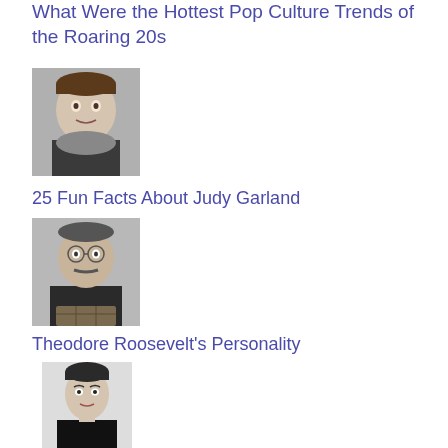What Were the Hottest Pop Culture Trends of the Roaring 20s
[Figure (photo): Black and white portrait photo of a young woman (Judy Garland)]
25 Fun Facts About Judy Garland
[Figure (photo): Black and white portrait photo of a man (Theodore Roosevelt)]
Theodore Roosevelt's Personality
[Figure (photo): Black and white portrait photo of a woman (Audrey Hepburn style, Fashion Trends)]
Fashion Trends Started by Celebrities
Guides
[Figure (illustration): Small icon of a knife/knives guide]
Ultimate Guide to Knives